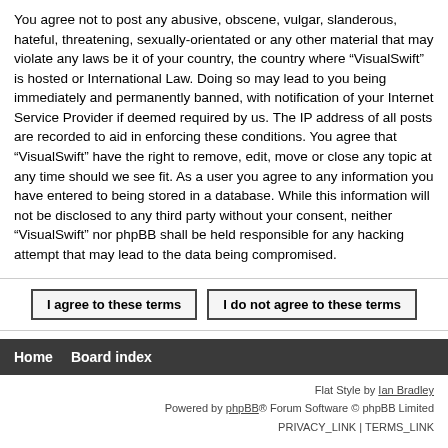You agree not to post any abusive, obscene, vulgar, slanderous, hateful, threatening, sexually-orientated or any other material that may violate any laws be it of your country, the country where “VisualSwift” is hosted or International Law. Doing so may lead to you being immediately and permanently banned, with notification of your Internet Service Provider if deemed required by us. The IP address of all posts are recorded to aid in enforcing these conditions. You agree that “VisualSwift” have the right to remove, edit, move or close any topic at any time should we see fit. As a user you agree to any information you have entered to being stored in a database. While this information will not be disclosed to any third party without your consent, neither “VisualSwift” nor phpBB shall be held responsible for any hacking attempt that may lead to the data being compromised.
I agree to these terms
I do not agree to these terms
Home   Board index
Flat Style by Ian Bradley
Powered by phpBB® Forum Software © phpBB Limited
PRIVACY_LINK | TERMS_LINK